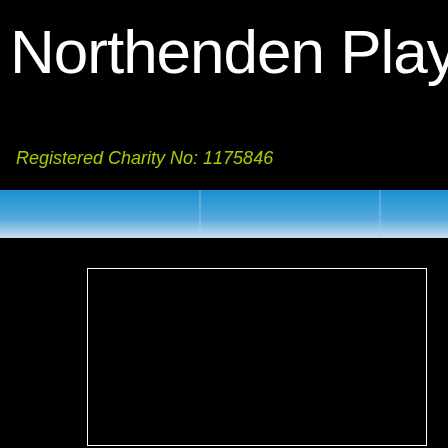Northenden Players The
Registered Charity No: 1175846
[Figure (other): Horizontal navigation bar with blue gradient background and vertical dividers]
[Figure (other): Black rectangle with white border, content area]